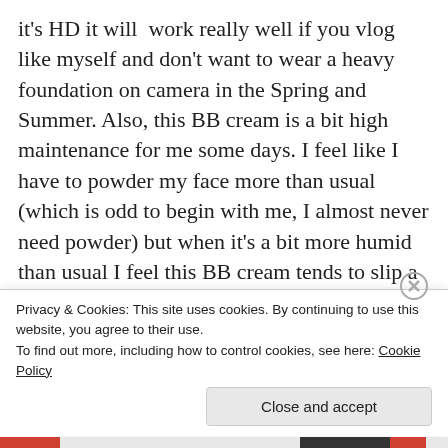it's HD it will work really well if you vlog like myself and don't want to wear a heavy foundation on camera in the Spring and Summer. Also, this BB cream is a bit high maintenance for me some days. I feel like I have to powder my face more than usual (which is odd to begin with me, I almost never need powder) but when it's a bit more humid than usual I feel this BB cream tends to slip a bit on my skin. So, if you have oily skin this may not be the best for you, but it's still worth a shot given LA Girl is so affordable.
So, that was it for the BB creams I currently have in my
Privacy & Cookies: This site uses cookies. By continuing to use this website, you agree to their use.
To find out more, including how to control cookies, see here: Cookie Policy